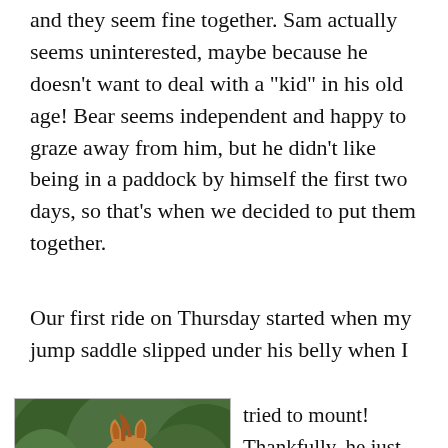and they seem fine together. Sam actually seems uninterested, maybe because he doesn't want to deal with a “kid” in his old age! Bear seems independent and happy to graze away from him, but he didn’t like being in a paddock by himself the first two days, so that’s when we decided to put them together.
Our first ride on Thursday started when my jump saddle slipped under his belly when I
[Figure (photo): Close-up photo of a golden/chestnut horse face and neck, with green trees in the background. The horse has a small white marking on its forehead.]
tried to mount! Thankfully, he just stood there, but I clearly need a different girth or a different saddle. I’m